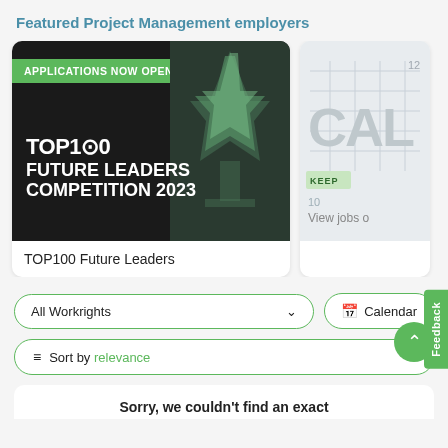Featured Project Management employers
[Figure (screenshot): Card showing TOP100 Future Leaders Competition 2023 with green banner 'APPLICATIONS NOW OPEN!' and trophy image on dark background]
TOP100 Future Leaders
[Figure (screenshot): Partially visible card showing calendar image with 'CAL' text and 'KEEP' badge, with 'View jobs o...' text]
View jobs o
All Workrights
Calendar
Sort by relevance
Sorry, we couldn't find an exact